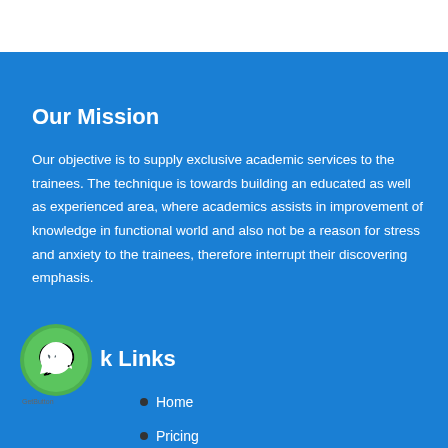Our Mission
Our objective is to supply exclusive academic services to the trainees. The technique is towards building an educated as well as experienced area, where academics assists in improvement of knowledge in functional world and also not be a reason for stress and anxiety to the trainees, therefore interrupt their discovering emphasis.
Quick Links
Home
Pricing